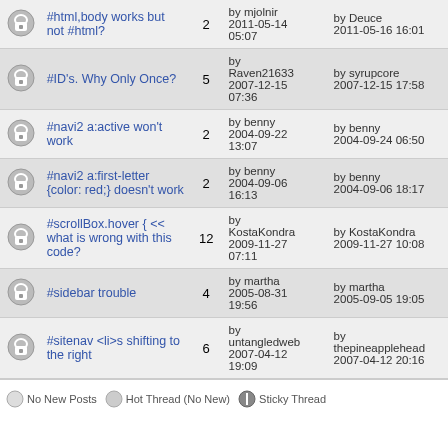|  | Topic | Replies | Last Post By / Date | Last Reply |
| --- | --- | --- | --- | --- |
| [lock] | #html,body works but not #html? | 2 | by mjolnir
2011-05-14 05:07 | by Deuce
2011-05-16 16:01 |
| [lock] | #ID's. Why Only Once? | 5 | by Raven21633
2007-12-15 07:36 | by syrupcore
2007-12-15 17:58 |
| [lock] | #navi2 a:active won't work | 2 | by benny
2004-09-22 13:07 | by benny
2004-09-24 06:50 |
| [lock] | #navi2 a:first-letter {color: red;} doesn't work | 2 | by benny
2004-09-06 16:13 | by benny
2004-09-06 18:17 |
| [lock] | #scrollBox.hover { << what is wrong with this code? | 12 | by KostaKondra
2009-11-27 07:11 | by KostaKondra
2009-11-27 10:08 |
| [lock] | #sidebar trouble | 4 | by martha
2005-08-31 19:56 | by martha
2005-09-05 19:05 |
| [lock] | #sitenav <li>s shifting to the right | 6 | by untangledweb
2007-04-12 19:09 | by thepineapplehead
2007-04-12 20:16 |
No New Posts   Hot Thread (No New)   Sticky Thread